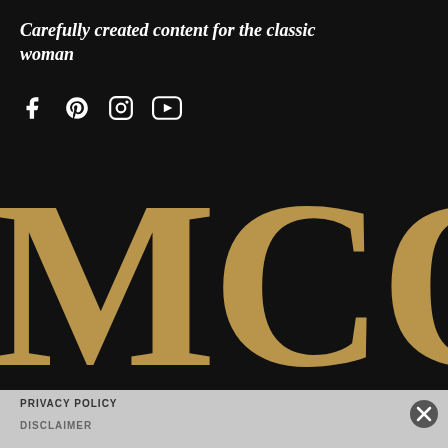Carefully created content for the classic woman
[Figure (logo): Social media icons: Facebook, Pinterest, Instagram, YouTube]
[Figure (logo): Large MCO letters in gold/tan serif font on black background]
PRIVACY POLICY
DISCLAIMER